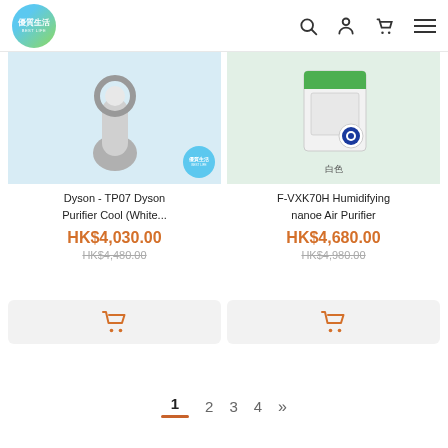優質生活 BEST LIFE — navigation header with search, account, cart, and menu icons
[Figure (photo): Dyson TP07 air purifier product image on light blue background with 優質生活 BEST LIFE logo overlay]
[Figure (photo): Panasonic F-VXK70H Humidifying nanoe Air Purifier white color product image on light green background with nanoe logo]
Dyson - TP07 Dyson Purifier Cool (White...
F-VXK70H Humidifying nanoe Air Purifier
HK$4,030.00
HK$4,480.00
HK$4,680.00
HK$4,980.00
Pagination: 1 2 3 4 »